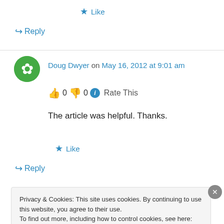★ Like
↪ Reply
Doug Dwyer on May 16, 2012 at 9:01 am
👍 0 👎 0 ℹ Rate This
The article was helpful. Thanks.
★ Like
↪ Reply
Privacy & Cookies: This site uses cookies. By continuing to use this website, you agree to their use. To find out more, including how to control cookies, see here: Cookie Policy
Close and accept